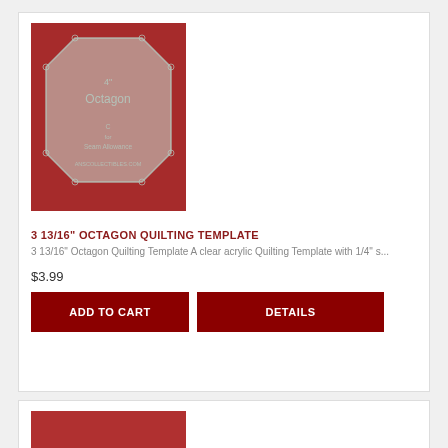[Figure (photo): Clear acrylic octagon quilting template on red fabric background, labeled '4" Octagon' with seam allowance markings and ANSCOLLECTIBLES.COM text]
3 13/16" OCTAGON QUILTING TEMPLATE
3 13/16" Octagon Quilting Template A clear acrylic Quilting Template with 1/4" s...
$3.99
ADD TO CART
DETAILS
[Figure (photo): Partially visible product image on red background at bottom of page]